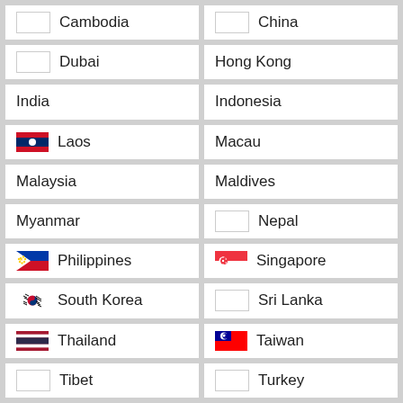| Cambodia | China |
| Dubai | Hong Kong |
| India | Indonesia |
| Laos | Macau |
| Malaysia | Maldives |
| Myanmar | Nepal |
| Philippines | Singapore |
| South Korea | Sri Lanka |
| Thailand | Taiwan |
| Tibet | Turkey |